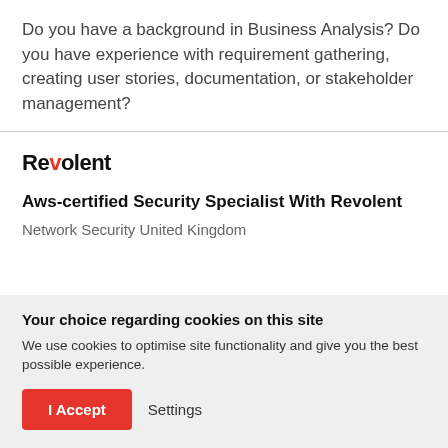Do you have a background in Business Analysis? Do you have experience with requirement gathering, creating user stories, documentation, or stakeholder management?
[Figure (logo): Revolent company logo with a red stylized 'v' character]
Aws-certified Security Specialist With Revolent
Network Security United Kingdom
Your choice regarding cookies on this site
We use cookies to optimise site functionality and give you the best possible experience.
I Accept   Settings